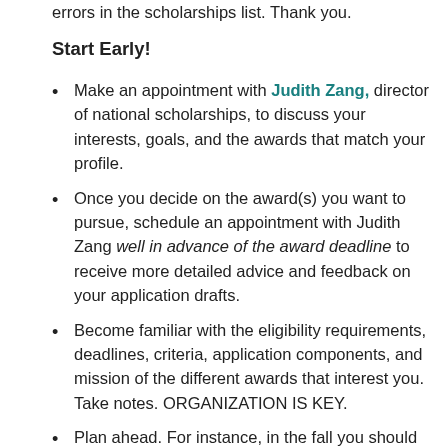errors in the scholarships list. Thank you.
Start Early!
Make an appointment with Judith Zang, director of national scholarships, to discuss your interests, goals, and the awards that match your profile.
Once you decide on the award(s) you want to pursue, schedule an appointment with Judith Zang well in advance of the award deadline to receive more detailed advice and feedback on your application drafts.
Become familiar with the eligibility requirements, deadlines, criteria, application components, and mission of the different awards that interest you. Take notes. ORGANIZATION IS KEY.
Plan ahead. For instance, in the fall you should start thinking about what you will do in the summer. There are awards (some with deadlines